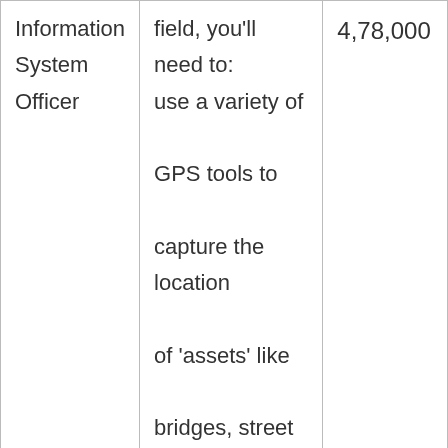| Information System Officer | field, you'll need to: use a variety of GPS tools to capture the location of 'assets' like bridges, street lights, road barriers, and flood defences. | 4,78,000 |
|  | Environmental consultants provide their clients with expert assessment and in... |  |